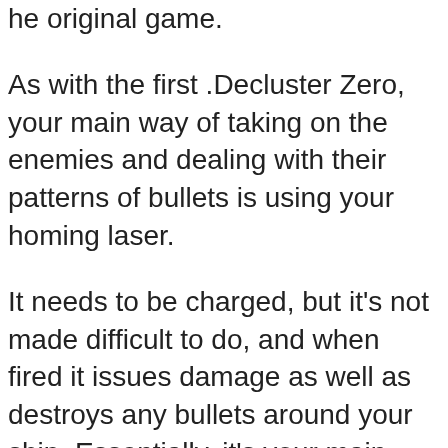he original game. As with the first .Decluster Zero, your main way of taking on the enemies and dealing with their patterns of bullets is using your homing laser. It needs to be charged, but it's not made difficult to do, and when fired it issues damage as well as destroys any bullets around your ship. Essentially, it's your main method of attack and defence. .Decluster Zero: Bullet Nocturne will have five stages to beat with four different difficulty levels, filled with bosses and challenging bullet patterns. Poppy Huggy Wuggy FNF Playtime Mod Huggy Wuggy FNF Full Mod APK 0.6 Features:The game is in the test phase, developers to optimize your testing experience, provide you with multiple songs in the gameNote: The game needs to break the network to enter, otherwise it will show a flashback phenomenon.FNF Mukbang Full Week is an exciting music game that is a combination of the hot trend Mukbang and Funny FNF Music Battle.MUKBANG VS FNF - How do you play it?You will have to defeat different characters as several FNF mods in a musical battle to turn into food for yourself.MU